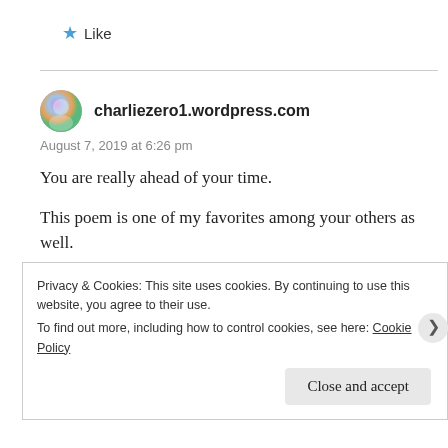★ Like
charliezero1.wordpress.com
August 7, 2019 at 6:26 pm
You are really ahead of your time.
This poem is one of my favorites among your others as well.
Your poetry brings a calmness to our psyche and that's what we all need right now. Love it! 🙂
Privacy & Cookies: This site uses cookies. By continuing to use this website, you agree to their use.
To find out more, including how to control cookies, see here: Cookie Policy
Close and accept